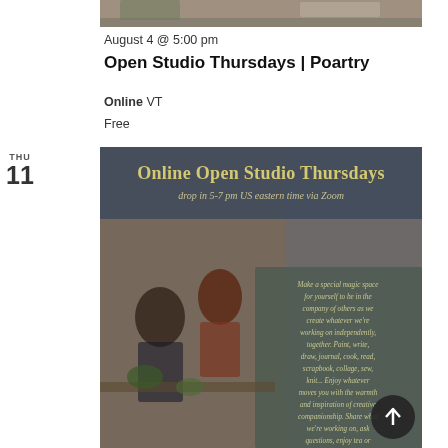[Figure (photo): Top cropped photo of studio/craft items on a table with plants]
August 4 @ 5:00 pm
Open Studio Thursdays | Poartry
Online VT
Free
THU
11
[Figure (photo): Online Open Studio Thursdays event poster. Drop in 5-7 pm US eastern time via Zoom. Shows people working creatively. Text: Make a special magic space for yourself to be in the company of others as we create whatever we're working on independently, together. Paint, write, draw, journal, cook, read, scrapbook, collage, sew, knit... Enjoy whatever moves you with the warmth and inspiration of creative companionship. Share what we're working on, ask questions, enjoy tea or coffee together or just be.]